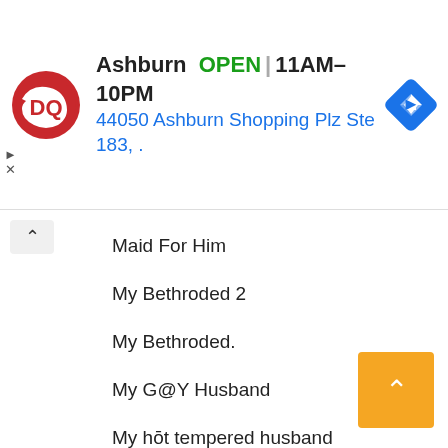[Figure (screenshot): Dairy Queen ad banner showing DQ logo, Ashburn location, OPEN status, hours 11AM-10PM, address 44050 Ashburn Shopping Plz Ste 183, and navigation icon]
Maid For Him
My Bethroded 2
My Bethroded.
My G@Y Husband
My hōt tempered husband
My V Bride.
ON with a cute guy
Possessive Billionaire
Pregnant at 18
Royal High
She belongs to the kitchen